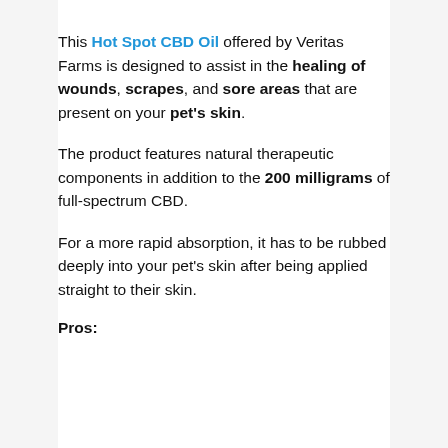This Hot Spot CBD Oil offered by Veritas Farms is designed to assist in the healing of wounds, scrapes, and sore areas that are present on your pet's skin.
The product features natural therapeutic components in addition to the 200 milligrams of full-spectrum CBD.
For a more rapid absorption, it has to be rubbed deeply into your pet's skin after being applied straight to their skin.
Pros: